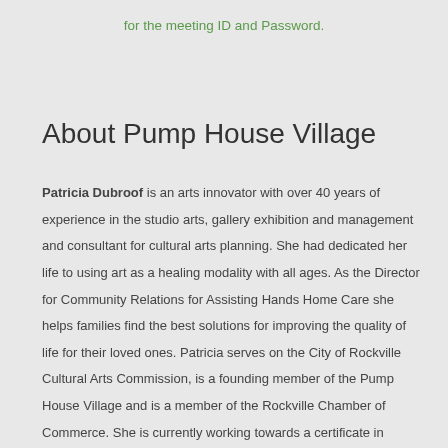for the meeting ID and Password.
About Pump House Village
Patricia Dubroof is an arts innovator with over 40 years of experience in the studio arts, gallery exhibition and management and consultant for cultural arts planning. She had dedicated her life to using art as a healing modality with all ages. As the Director for Community Relations for Assisting Hands Home Care she helps families find the best solutions for improving the quality of life for their loved ones. Patricia serves on the City of Rockville Cultural Arts Commission, is a founding member of the Pump House Village and is a member of the Rockville Chamber of Commerce. She is currently working towards a certificate in Death and Dying from